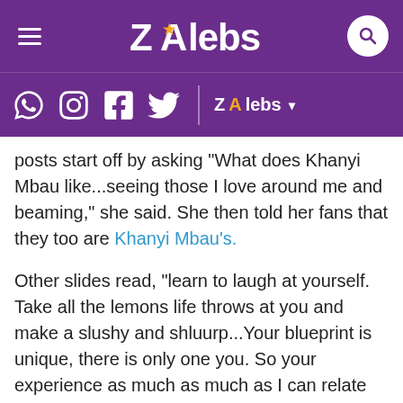ZAlebs
posts start off by asking "What does Khanyi Mbau like...seeing those I love around me and beaming," she said. She then told her fans that they too are Khanyi Mbau's.
Other slides read, "learn to laugh at yourself. Take all the lemons life throws at you and make a slushy and shluurp...Your blueprint is unique, there is only one you. So your experience as much as much as I can relate can only be yours! Be present! Feel!," she said. "Now pick up the stones thrown at you and fix that foundation."
A few hours later, she them directs her message at Kudzai Mushonga who she left broken and lonely in